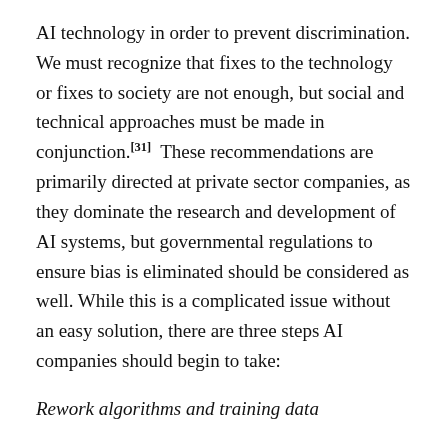AI technology in order to prevent discrimination. We must recognize that fixes to the technology or fixes to society are not enough, but social and technical approaches must be made in conjunction.[31] These recommendations are primarily directed at private sector companies, as they dominate the research and development of AI systems, but governmental regulations to ensure bias is eliminated should be considered as well. While this is a complicated issue without an easy solution, there are three steps AI companies should begin to take:
Rework algorithms and training data
First, on the technical side, care should be taken to provide machines algorithms and training data that are as representative as possible. Engineers should rigorously test, monitor, and audit for bias and discrimination.[32] Research will have to expand into a wider social analysis of how the data is used in context, and what areas might